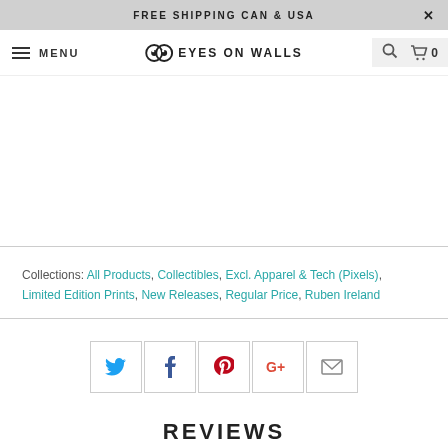FREE SHIPPING CAN & USA
MENU  EYES ON WALLS  0
Collections: All Products, Collectibles, Excl. Apparel & Tech (Pixels), Limited Edition Prints, New Releases, Regular Price, Ruben Ireland
[Figure (infographic): Social sharing buttons: Twitter, Facebook, Pinterest, Google+, Email]
REVIEWS